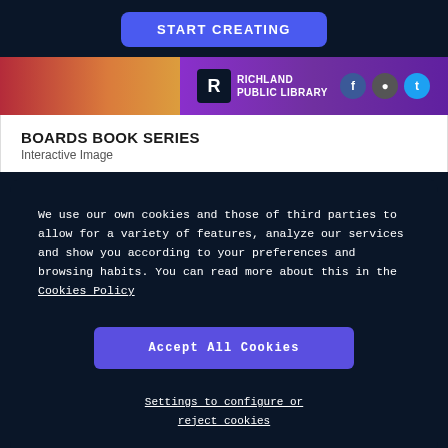START CREATING
[Figure (screenshot): Richland Public Library banner with logo, social media icons (Facebook, web, Twitter) on purple gradient background]
BOARDS BOOK SERIES
Interactive Image
We use our own cookies and those of third parties to allow for a variety of features, analyze our services and show you according to your preferences and browsing habits. You can read more about this in the Cookies Policy
Accept All Cookies
Settings to configure or reject cookies